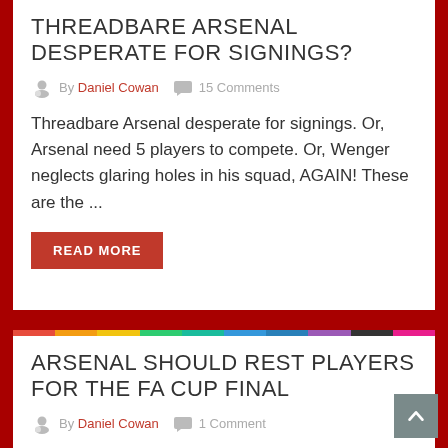THREADBARE ARSENAL DESPERATE FOR SIGNINGS?
By Daniel Cowan   15 Comments
Threadbare Arsenal desperate for signings. Or, Arsenal need 5 players to compete. Or, Wenger neglects glaring holes in his squad, AGAIN! These are the ...
READ MORE
ARSENAL SHOULD REST PLAYERS FOR THE FA CUP FINAL
By Daniel Cowan   1 Comment